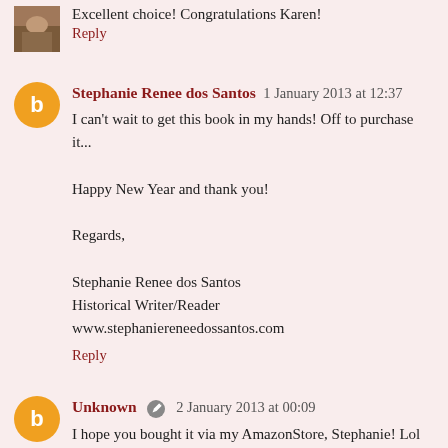Excellent choice! Congratulations Karen!
Reply
Stephanie Renee dos Santos  1 January 2013 at 12:37
I can't wait to get this book in my hands! Off to purchase it...

Happy New Year and thank you!

Regards,

Stephanie Renee dos Santos
Historical Writer/Reader
www.stephaniereneedossantos.com
Reply
Unknown  2 January 2013 at 00:09
I hope you bought it via my AmazonStore, Stephanie! Lol
Reply